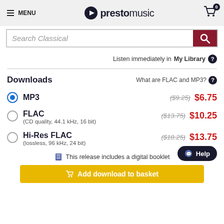MENU | prestomusic | cart 0
Search Classical
Listen immediately in My Library
Downloads
What are FLAC and MP3?
MP3 ($9.25) $6.75
FLAC (CD quality, 44.1 kHz, 16 bit) ($13.75) $10.25
Hi-Res FLAC (lossless, 96 kHz, 24 bit) ($18.25) $13.75
This release includes a digital booklet
Add download to basket